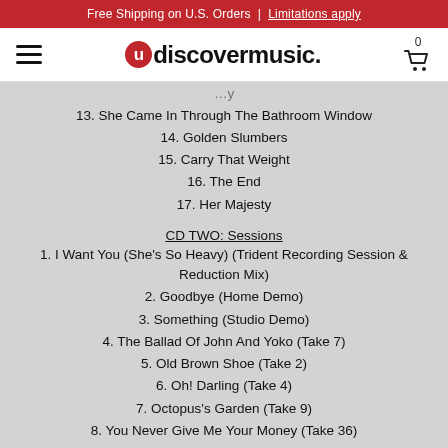Free Shipping on U.S. Orders | Limitations apply
udiscovermusic.
13. She Came In Through The Bathroom Window
14. Golden Slumbers
15. Carry That Weight
16. The End
17. Her Majesty
CD TWO: Sessions
1. I Want You (She's So Heavy) (Trident Recording Session & Reduction Mix)
2. Goodbye (Home Demo)
3. Something (Studio Demo)
4. The Ballad Of John And Yoko (Take 7)
5. Old Brown Shoe (Take 2)
6. Oh! Darling (Take 4)
7. Octopus's Garden (Take 9)
8. You Never Give Me Your Money (Take 36)
9. Her Majesty (Takes 1–3)